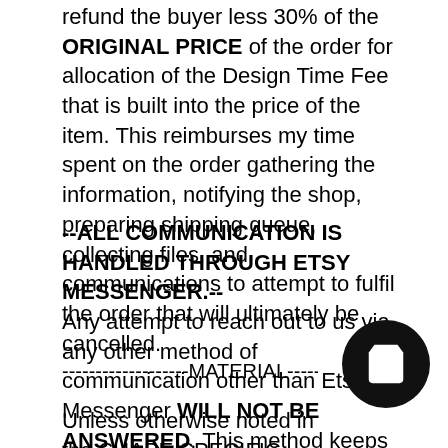refund the buyer less 30% of the ORIGINAL PRICE of the order for allocation of the Design Time Fee that is built into the price of the item. This reimburses my time spent on the order gathering the information, notifying the shop, preparing shipping queue, collecting files, and communications to attempt to fulfil the order that will ultimately be cancelled.
--ALL COMMUNICATION IS HANDLED THROUGH ETSY MESSENGER.-- Any attempt to reach out to us via any other method of communication other than Etsy Messenger WILL NOT BE ANSWERED. This method keeps all the order details in once place, which is makes for the Best Practice for reducing order mistakes.
-------------------MATERIAL-------------------
Unless otherwise noted in the SHAPE SPECIFIC above, we use ¼" Baltic Birch Plywood for our laser cut